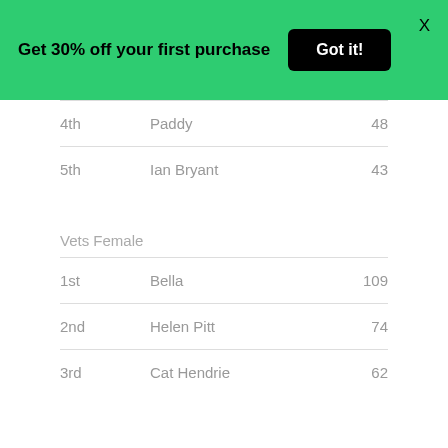Get 30% off your first purchase  Got it!  X
| 4th | Paddy | 48 |
| 5th | Ian Bryant | 43 |
Vets Female
| 1st | Bella | 109 |
| 2nd | Helen Pitt | 74 |
| 3rd | Cat Hendrie | 62 |